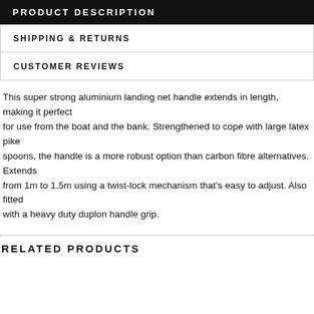PRODUCT DESCRIPTION
SHIPPING & RETURNS
CUSTOMER REVIEWS
This super strong aluminium landing net handle extends in length, making it perfect for use from the boat and the bank. Strengthened to cope with large latex pike spoons, the handle is a more robust option than carbon fibre alternatives. Extends from 1m to 1.5m using a twist-lock mechanism that’s easy to adjust. Also fitted with a heavy duty duplon handle grip.
RELATED PRODUCTS